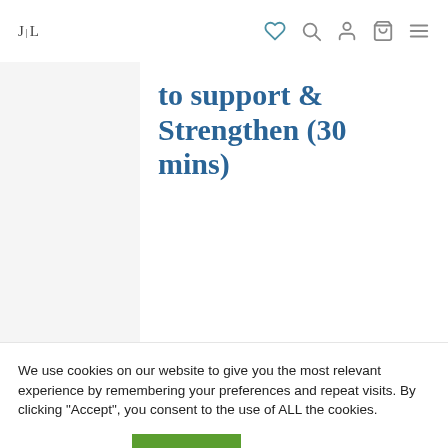JL [logo with navigation icons: heart, search, account, bag, menu]
to support & Strengthen (30 mins)
We use cookies on our website to give you the most relevant experience by remembering your preferences and repeat visits. By clicking “Accept”, you consent to the use of ALL the cookies.
Cookie settings
ACCEPT